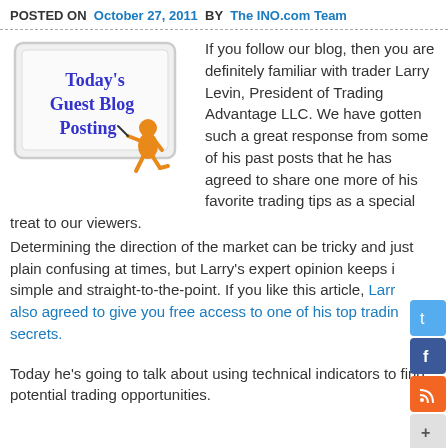POSTED ON  October 27, 2011  BY  The INO.com Team
[Figure (illustration): Whiteboard illustration with 'Today's Guest Blog Posting' written in blue cursive, with an orange figure writing on it]
If you follow our blog, then you are definitely familiar with trader Larry Levin, President of Trading Advantage LLC. We have gotten such a great response from some of his past posts that he has agreed to share one more of his favorite trading tips as a special treat to our viewers. Determining the direction of the market can be tricky and just plain confusing at times, but Larry's expert opinion keeps it simple and straight-to-the-point. If you like this article, Larry has also agreed to give you free access to one of his top trading secrets.
Today he's going to talk about using technical indicators to find potential trading opportunities.